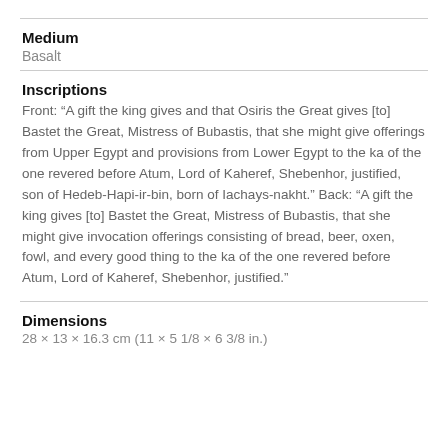Medium
Basalt
Inscriptions
Front: “A gift the king gives and that Osiris the Great gives [to] Bastet the Great, Mistress of Bubastis, that she might give offerings from Upper Egypt and provisions from Lower Egypt to the ka of the one revered before Atum, Lord of Kaheref, Shebenhor, justified, son of Hedeb-Hapi-ir-bin, born of Iachays-nakht.” Back: “A gift the king gives [to] Bastet the Great, Mistress of Bubastis, that she might give invocation offerings consisting of bread, beer, oxen, fowl, and every good thing to the ka of the one revered before Atum, Lord of Kaheref, Shebenhor, justified.”
Dimensions
28 × 13 × 16.3 cm (11 × 5 1/8 × 6 3/8 in.)